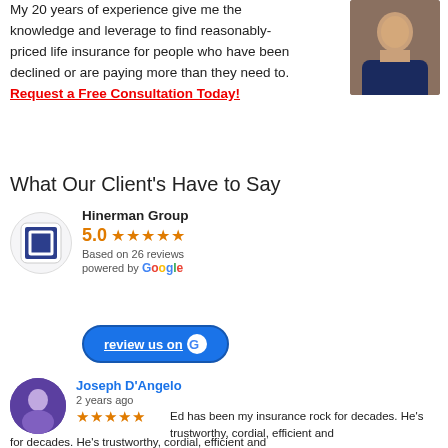My 20 years of experience give me the knowledge and leverage to find reasonably-priced life insurance for people who have been declined or are paying more than they need to. Request a Free Consultation Today!
[Figure (photo): Headshot of a man in a suit and glasses, outdoors]
What Our Client's Have to Say
[Figure (logo): Hinerman Group logo - square icon with nested squares]
Hinerman Group
5.0 ★★★★★
Based on 26 reviews
powered by Google
[Figure (other): Blue button with text 'review us on Google']
Joseph D'Angelo
2 years ago
[Figure (photo): Purple circle avatar with person silhouette]
★★★★★ Ed has been my insurance rock for decades. He's trustworthy, cordial, efficient and